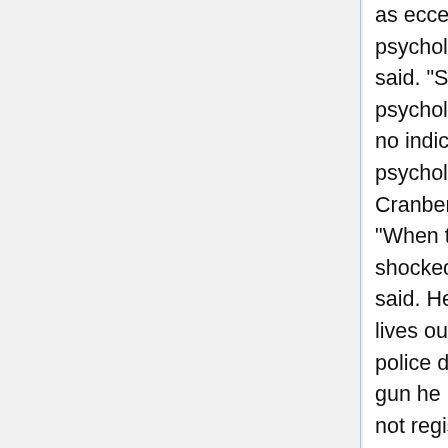as eccentric. "I believe she had some psychological problems," Marraway said. "She had been in the hospital for psychological problems." There was no indication that Carr. 84, had psychological problems, according to Cranberry police Cpl. David Lewis. "When talking to the family, they were shocked at the occurrence," Lewis said. He said Carr has a sister who lives out of state. [...] Lewis added that police do not know where Carr got the gun he used to shoot himself and it is not registered. [...] Carr claimed he was the victim of FBI and police conspiracies, according to Hengelsberg. "It sounded like something on 'Miami Vice.'"